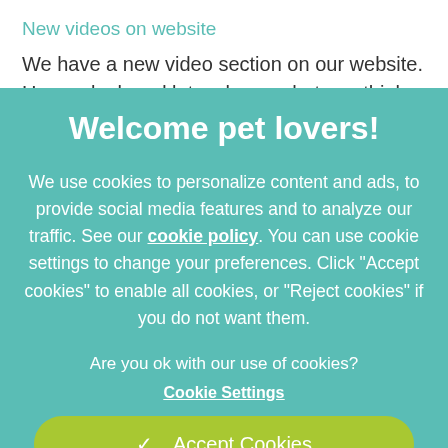New videos on website
We have a new video section on our website. Have a look and let us know what you think and please do tell us what you would like to learn or know
Welcome pet lovers!
We use cookies to personalize content and ads, to provide social media features and to analyze our traffic. See our cookie policy. You can use cookie settings to change your preferences. Click "Accept cookies" to enable all cookies, or "Reject cookies" if you do not want them.
Are you ok with our use of cookies?
Cookie Settings
✓  Accept Cookies